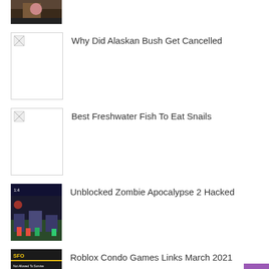[Figure (photo): Partial screenshot of a game or video thumbnail at the top of the page, partially cropped]
Why Did Alaskan Bush Get Cancelled
Best Freshwater Fish To Eat Snails
Unblocked Zombie Apocalypse 2 Hacked
Roblox Condo Games Links March 2021